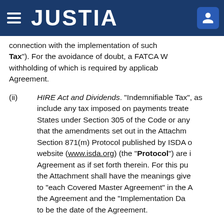JUSTIA
connection with the implementation of such Tax"). For the avoidance of doubt, a FATCA W withholding of which is required by applicable Agreement.
(ii) HIRE Act and Dividends. “Indemnifiable Tax”, as include any tax imposed on payments treated States under Section 305 of the Code or any that the amendments set out in the Attachm Section 871(m) Protocol published by ISDA o website (www.isda.org) (the “Protocol”) are i Agreement as if set forth therein. For this pu the Attachment shall have the meanings give to “each Covered Master Agreement” in the A the Agreement and the “Implementation Da to be the date of the Agreement.